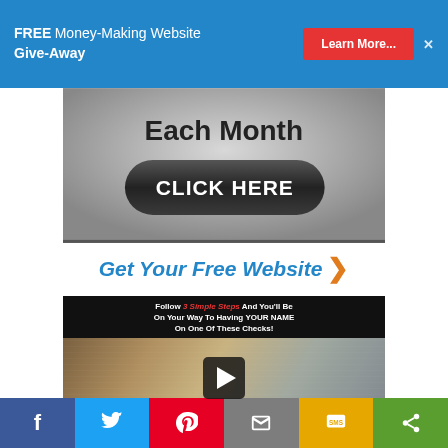FREE Money-Making Website Give-Away | Learn More...
[Figure (screenshot): Gray gradient banner with 'Each Month' text and a dark rounded 'CLICK HERE' button]
Get Your Free Website ❯
[Figure (screenshot): Dark video thumbnail with text 'Follow 3 Simple Steps And You'll Be On Your Way To Having YOUR NAME On One Of These Checks!' and a play button over checks/documents background]
Social share bar: Facebook, Twitter, Pinterest, Email, SMS, Share